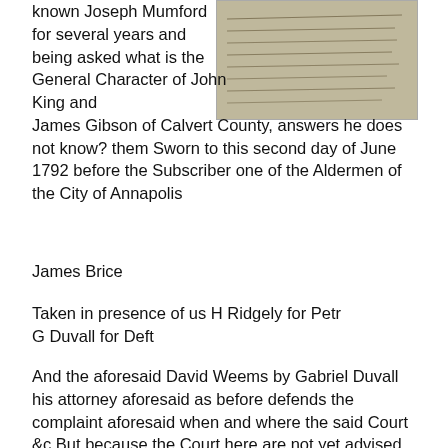known Joseph Mumford for several years and being asked what is the General Character of John King and James Gibson of Calvert County, answers he does not know? them Sworn to this second day of June 1792 before the Subscriber one of the Aldermen of the City of Annapolis
[Figure (photo): Handwritten document page, partially visible, showing old cursive handwriting on aged paper]
James Brice
Taken in presence of us H Ridgely for Petr
G Duvall for Deft
And the aforesaid David Weems by Gabriel Duvall his attorney aforesaid as before defends the complaint aforesaid when and where the said Court &c But because the Court here are not yet advised to give their Judgment of and upon the Premises Day therefore is further given to the Parties